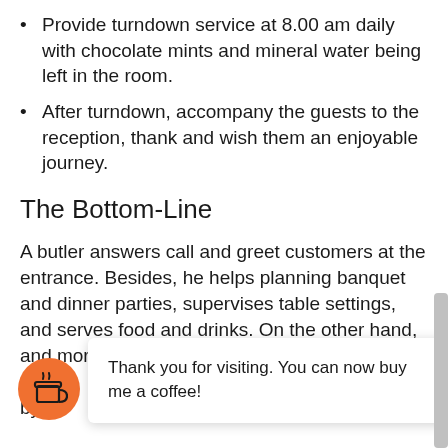Provide turndown service at 8.00 am daily with chocolate mints and mineral water being left in the room.
After turndown, accompany the guests to the reception, thank and wish them an enjoyable journey.
The Bottom-Line
A butler answers call and greet customers at the entrance. Besides, he helps planning banquet and dinner parties, supervises table settings, and serves food and drinks. On the other hand, and more importantly, they supervis… por… bye
Thank you for visiting. You can now buy me a coffee!